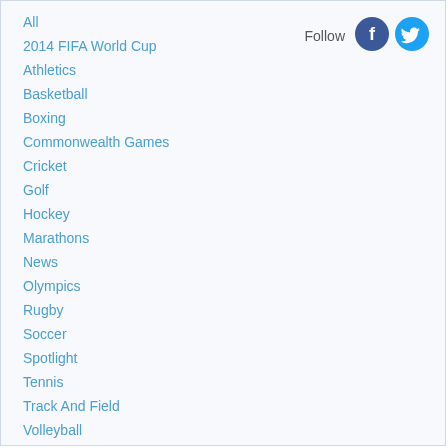All
2014 FIFA World Cup
Athletics
Basketball
Boxing
Commonwealth Games
Cricket
Golf
Hockey
Marathons
News
Olympics
Rugby
Soccer
Spotlight
Tennis
Track And Field
Volleyball
Women Soccer
Wrestling
[Figure (logo): Facebook logo icon (blue circle with F)]
[Figure (logo): Twitter logo icon (blue circle with bird)]
Follow